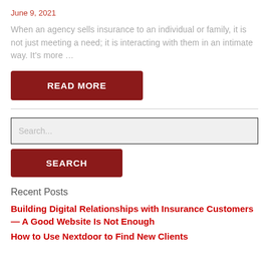June 9, 2021
When an agency sells insurance to an individual or family, it is not just meeting a need; it is interacting with them in an intimate way. It's more …
READ MORE
Search...
SEARCH
Recent Posts
Building Digital Relationships with Insurance Customers — A Good Website Is Not Enough
How to Use Nextdoor to Find New Clients